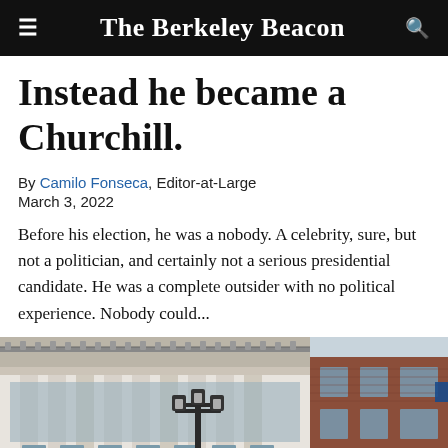The Berkeley Beacon
Instead he became a Churchill.
By Camilo Fonseca, Editor-at-Large
March 3, 2022
Before his election, he was a nobody. A celebrity, sure, but not a politician, and certainly not a serious presidential candidate. He was a complete outsider with no political experience. Nobody could...
[Figure (photo): Street-level view of a classical building with tall white columns and glass facade, alongside a brick building, with an ornate street lamp in the foreground.]